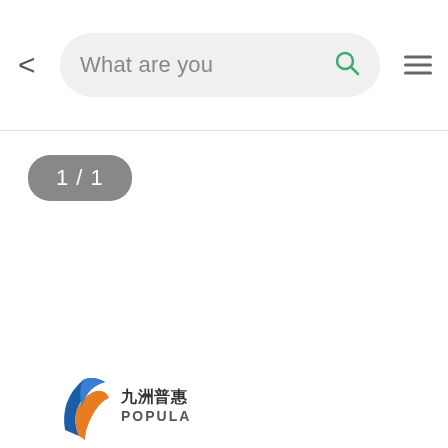< What are you [search bar with icon]
1 / 1
[Figure (logo): 九洲普惠 POPULA company logo with blue and orange swoosh graphic]